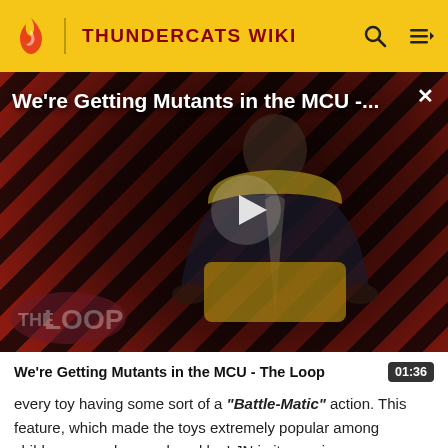THUNDERCATS WIKI
[Figure (screenshot): Video thumbnail showing a bald man in a suit seated in a yellow chair, with diagonal red/dark stripe background and The Loop watermark. Title overlay reads 'We're Getting Mutants in the MCU -...' with a play button and close X.]
We're Getting Mutants in the MCU - The Loop  01:36
every toy having some sort of a "Battle-Matic" action. This feature, which made the toys extremely popular among children, was also employed by LJN in its previous